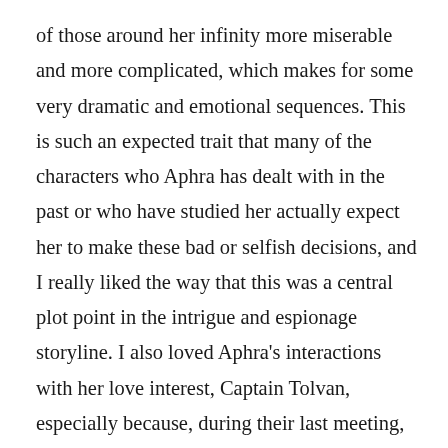of those around her infinity more miserable and more complicated, which makes for some very dramatic and emotional sequences. This is such an expected trait that many of the characters who Aphra has dealt with in the past or who have studied her actually expect her to make these bad or selfish decisions, and I really liked the way that this was a central plot point in the intrigue and espionage storyline. I also loved Aphra's interactions with her love interest, Captain Tolvan, especially because, during their last meeting, Aphra purposely altered her memories to make her believe she had killed Aphra in a jealous rage. While Aphra did this with the best of intentions (it was the only way to save both Aphra and Tolvan from Vader), this has obviously had a major negative impact on their relationship, and